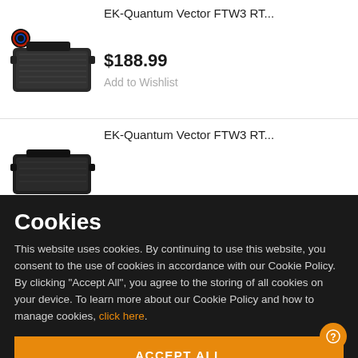EK-Quantum Vector FTW3 RT...
[Figure (photo): EK water cooling block product image with RGB indicator, black metal block]
$188.99
Add to Wishlist
EK-Quantum Vector FTW3 RT...
[Figure (photo): EK water cooling block product image, black]
Cookies
This website uses cookies. By continuing to use this website, you consent to the use of cookies in accordance with our Cookie Policy. By clicking “Accept All”, you agree to the storing of all cookies on your device. To learn more about our Cookie Policy and how to manage cookies, click here.
ACCEPT ALL
SETTINGS ›